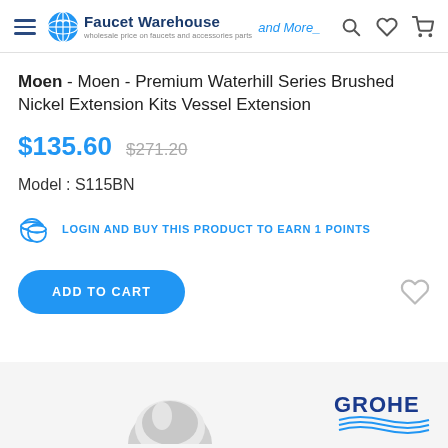[Figure (logo): Faucet Warehouse logo with globe icon and 'and More' script text]
Moen - Moen - Premium Waterhill Series Brushed Nickel Extension Kits Vessel Extension
$135.60  $271.20
Model : S115BN
LOGIN AND BUY THIS PRODUCT TO EARN 1 POINTS
ADD TO CART
[Figure (logo): GROHE brand logo with blue text and wave lines]
[Figure (photo): Partial product photo of brushed nickel extension kit]